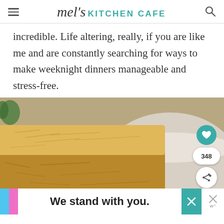mel's KITCHEN CAFE
incredible. Life altering, really, if you are like me and are constantly searching for ways to make weeknight dinners manageable and stress-free.
[Figure (photo): Close-up photo of a baked cheesy bread or casserole piece in a white baking dish, with an overlay showing a heart/save button (teal circle), a count badge showing 348, and a share button.]
We stand with you.